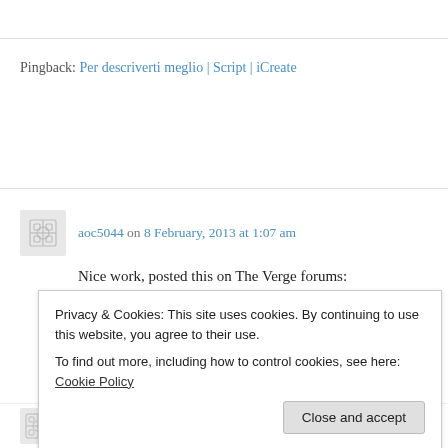Pingback: Per descriverti meglio | Script | iCreate
aoc5044 on 8 February, 2013 at 1:07 am
Nice work, posted this on The Verge forums:
http://www.theverge.com/2013/2/7/3965774/thro
Privacy & Cookies: This site uses cookies. By continuing to use this website, you agree to their use. To find out more, including how to control cookies, see here: Cookie Policy
Close and accept
Alex on 8 February, 2013 at 1:10 am